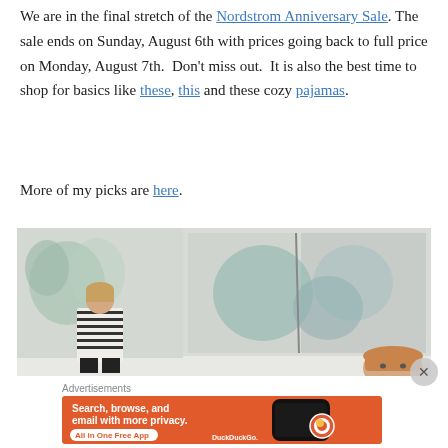We are in the final stretch of the Nordstrom Anniversary Sale. The sale ends on Sunday, August 6th with prices going back to full price on Monday, August 7th. Don't miss out. It is also the best time to shop for basics like these, this and these cozy pajamas.
More of my picks are here.
[Figure (photo): Two side-by-side photos of a woman in a striped black and white top standing in front of large abstract paintings with blue-green and grey tones.]
Advertisements
[Figure (screenshot): DuckDuckGo advertisement banner with orange background. Text reads: Search, browse, and email with more privacy. All in One Free App. DuckDuckGo logo and phone mockup visible.]